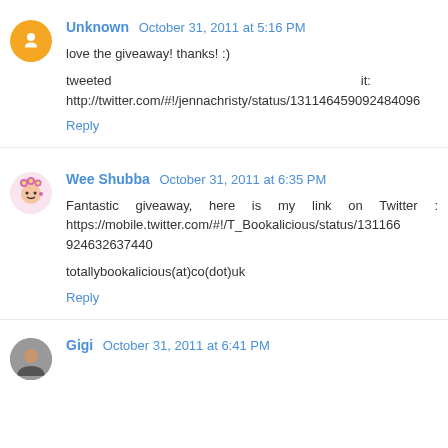Unknown  October 31, 2011 at 5:16 PM
love the giveaway! thanks! :)
tweeted it: http://twitter.com/#!/jennachristy/status/131146459092484096
Reply
Wee Shubba  October 31, 2011 at 6:35 PM
Fantastic giveaway, here is my link on Twitter : https://mobile.twitter.com/#!/T_Bookalicious/status/131166924632637440
totallybookalicious(at)co(dot)uk
Reply
Gigi  October 31, 2011 at 6:41 PM